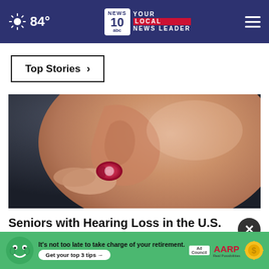84° NEWS10 YOUR LOCAL NEWS LEADER
Top Stories ›
[Figure (photo): Close-up of a person inserting a hearing aid into their ear]
Seniors with Hearing Loss in the U.S. Regret Not Knowing This Sooner
[Figure (infographic): AARP advertisement banner: It's not too late to take charge of your retirement. Get your top 3 tips →]